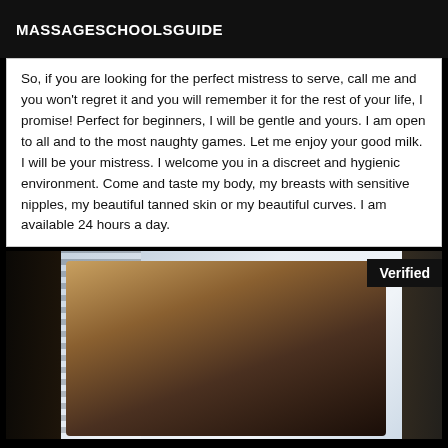MASSAGESCHOOLSGUIDE
So, if you are looking for the perfect mistress to serve, call me and you won't regret it and you will remember it for the rest of your life, I promise! Perfect for beginners, I will be gentle and yours. I am open to all and to the most naughty games. Let me enjoy your good milk. I will be your mistress. I welcome you in a discreet and hygienic environment. Come and taste my body, my breasts with sensitive nipples, my beautiful tanned skin or my beautiful curves. I am available 24 hours a day.
[Figure (photo): A woman in lingerie and stockings reclining on a striped chair near a bright window with curtains. A 'Verified' badge appears in the top right corner of the image.]